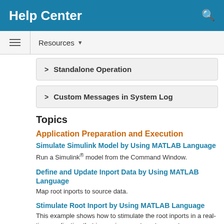Help Center
Resources
Standalone Operation
Custom Messages in System Log
Topics
Application Preparation and Execution
Simulate Simulink Model by Using MATLAB Language
Run a Simulink® model from the Command Window.
Define and Update Inport Data by Using MATLAB Language
Map root inports to source data.
Stimulate Root Inport by Using MATLAB Language
This example shows how to stimulate the root inports in a real-time application that is running on a target computer.
Prepare Real-Time Application by Using MATLAB Language